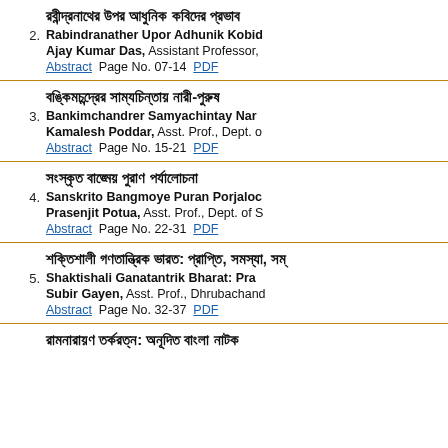2. রবীন্দ্রনাথের উপর আধুনিক কবিদের প্রভাব
Rabindranather Upor Adhunik Kobider Prova
Ajay Kumar Das, Assistant Professor,
Abstract  Page No. 07-14  PDF
3. বঙ্কিমচন্দ্রের সাম্যচিন্তায় নারী-পুরুষ
Bankimchandrer Samyachintay Nari-Purush
Kamalesh Poddar, Asst. Prof., Dept. o
Abstract  Page No. 15-21  PDF
4. সংস্কৃত বাঙ্মেয় পুরাণ পর্যালোচনা
Sanskrito Bangmoye Puran Porjalochona
Prasenjit Potua, Asst. Prof., Dept. of S
Abstract  Page No. 22-31  PDF
5. শক্তিশালী গণতান্ত্রিক ভারত: প্রাপ্তি, সমস্যা, সম
Shaktishali Ganatantrik Bharat: Pra
Subir Gayen, Asst. Prof., Dhrubachandra
Abstract  Page No. 32-37  PDF
6. রামনারায়ণ তর্করত্ন: অনূদিত বাংলা নাটক